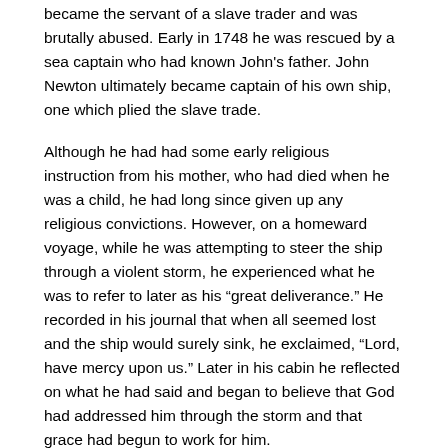became the servant of a slave trader and was brutally abused. Early in 1748 he was rescued by a sea captain who had known John's father. John Newton ultimately became captain of his own ship, one which plied the slave trade.
Although he had had some early religious instruction from his mother, who had died when he was a child, he had long since given up any religious convictions. However, on a homeward voyage, while he was attempting to steer the ship through a violent storm, he experienced what he was to refer to later as his “great deliverance.” He recorded in his journal that when all seemed lost and the ship would surely sink, he exclaimed, “Lord, have mercy upon us.” Later in his cabin he reflected on what he had said and began to believe that God had addressed him through the storm and that grace had begun to work for him.
For the rest of his life he observed the anniversary of May 10, 1748 as the day of his conversion, a day of humiliation in which he subjected his will to a higher power. “Thro’ many dangers, toils and snares, I have already come; ‘tis grace has bro’t me safe thus far, and grace will lead me home.” He continued in the slave trade for a time after his conversion; however, he saw to it that the slaves under his care were treated humanely.
In 1750 he married Mary Catlett, with whom he had been in love for many years. By 1755, after a serious illness, he had given up seafaring forever. During his days as a sailor he had begun to